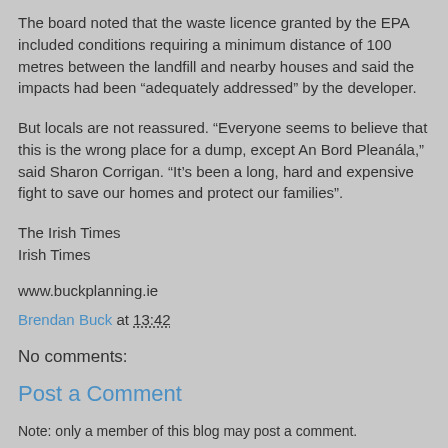The board noted that the waste licence granted by the EPA included conditions requiring a minimum distance of 100 metres between the landfill and nearby houses and said the impacts had been “adequately addressed” by the developer.
But locals are not reassured. “Everyone seems to believe that this is the wrong place for a dump, except An Bord Pleanála,” said Sharon Corrigan. “It’s been a long, hard and expensive fight to save our homes and protect our families”.
The Irish Times
Irish Times
www.buckplanning.ie
Brendan Buck at 13:42
No comments:
Post a Comment
Note: only a member of this blog may post a comment.